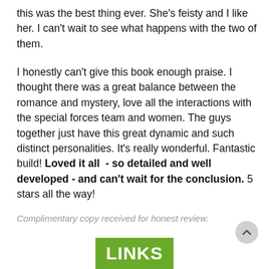this was the best thing ever. She's feisty and I like her. I can't wait to see what happens with the two of them.
I honestly can't give this book enough praise. I thought there was a great balance between the romance and mystery, love all the interactions with the special forces team and women. The guys together just have this great dynamic and such distinct personalities. It's really wonderful. Fantastic build! Loved it all  - so detailed and well developed - and can't wait for the conclusion. 5 stars all the way!
Complimentary copy received for honest review.
[Figure (logo): Green rectangle logo with white bold text reading LINKS]